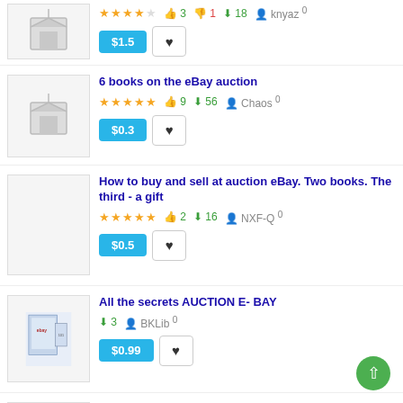[Figure (screenshot): Product listing page showing eBay-related books for sale]
6 books on the eBay auction — $0.3, 5 stars, 9 likes, 56 downloads, Chaos
How to buy and sell at auction eBay. Two books. The third - a gift — $0.5, 5 stars, 2 likes, 16 downloads, NXF-Q
All the secrets AUCTION E- BAY — $0.99, 3 downloads, BKLib
101 Board of trading on eBay — $0.25, 1 download, СоюзСП